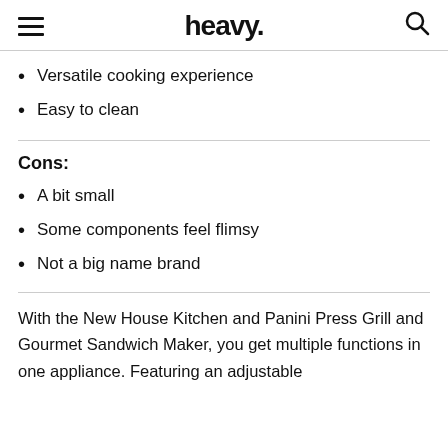heavy.
Versatile cooking experience
Easy to clean
Cons:
A bit small
Some components feel flimsy
Not a big name brand
With the New House Kitchen and Panini Press Grill and Gourmet Sandwich Maker, you get multiple functions in one appliance. Featuring an adjustable